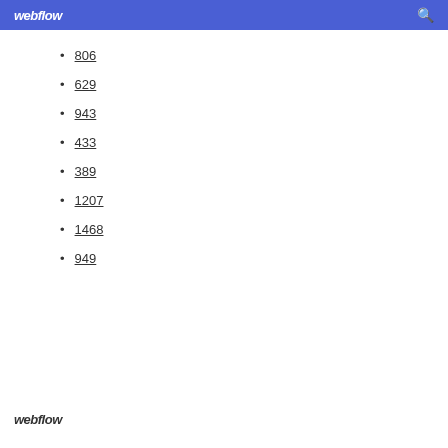webflow
806
629
943
433
389
1207
1468
949
webflow